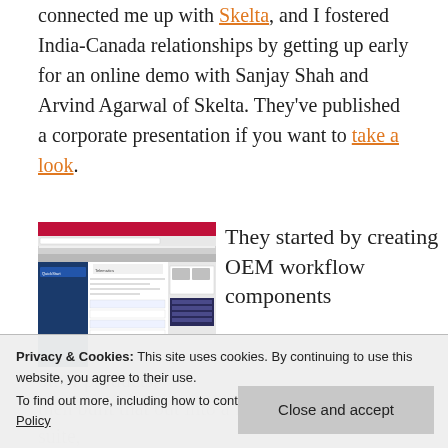connected me up with Skelta, and I fostered India-Canada relationships by getting up early for an online demo with Sanjay Shah and Arvind Agarwal of Skelta. They've published a corporate presentation if you want to take a look.
[Figure (screenshot): Screenshot of Skelta BPM.NET software interface showing QuickStart and Telematics workflow screens]
They started by creating OEM workflow components
Privacy & Cookies: This site uses cookies. By continuing to use this website, you agree to their use. To find out more, including how to control cookies, see here: Cookie Policy
Close and accept